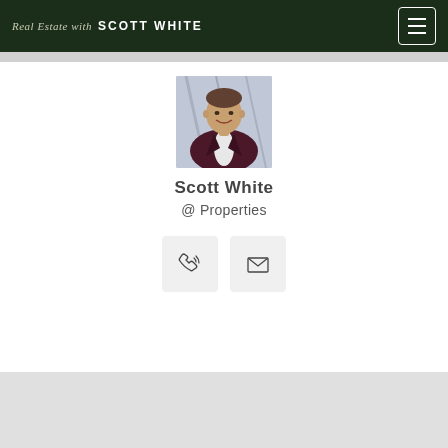Real Estate with SCOTT WHITE
[Figure (photo): Profile photo of Scott White, a man in a dark maroon blazer smiling, with an architectural background]
Scott White
@ Properties
[Figure (infographic): Two contact buttons: a phone icon button and an email/envelope icon button]